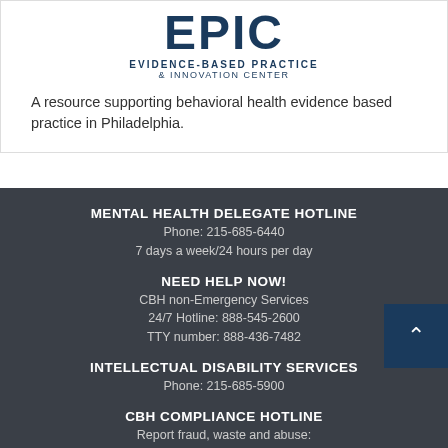[Figure (logo): EPIC Evidence-Based Practice & Innovation Center logo with large bold text EPIC above subtitle lines]
A resource supporting behavioral health evidence based practice in Philadelphia.
MENTAL HEALTH DELEGATE HOTLINE
Phone: 215-685-6440
7 days a week/24 hours per day
NEED HELP NOW!
CBH non-Emergency Services
24/7 Hotline: 888-545-2600
TTY number: 888-436-7482
INTELLECTUAL DISABILITY SERVICES
Phone: 215-685-5900
CBH COMPLIANCE HOTLINE
Report fraud, waste and abuse:
Phone: 800-229-3050
Email: cbh.compliancehotline@phila.gov